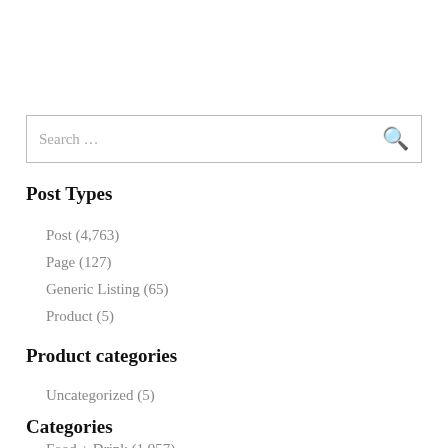Search …
Post Types
Post (4,763)
Page (127)
Generic Listing (65)
Product (5)
Product categories
Uncategorized (5)
Categories
Food + Drink (1,957)